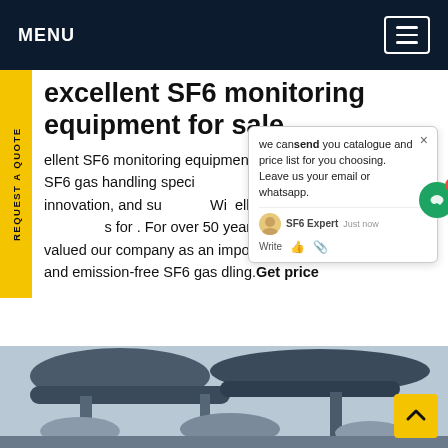MENU
excellent SF6 monitoring equipment for sale
excellent SF6 monitoring equipment you're looking for a SF6 gas handling specialist that combines quality, innovation, and su... With excellent customer service, the... s for . For over 50 years, customers ar... orld e valued our company as an important partner professional and emission-free SF6 gas dling.Get price
[Figure (screenshot): Chat popup overlay with text: 'we can send you catalogue and price list for you choosing. Leave us your email or whatsapp.' with SF6 Expert avatar and just now timestamp, Write field with like and attachment icons. Green chat button with red badge showing 1.]
[Figure (photo): Photo of industrial SF6 gas equipment/pipes at the bottom of the page]
REQUEST A QUOTE